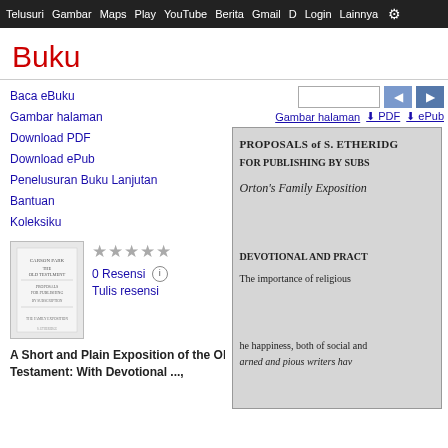Telusuri  Gambar  Maps  Play  YouTube  Berita  Gmail  Diusulkan  Login  Lainnya
Buku
Baca eBuku
Gambar halaman
Download PDF
Download ePub
Penelusuran Buku Lanjutan
Bantuan
Koleksiku
0 Resensi
Tulis resensi
A Short and Plain Exposition of the Old Testament: With Devotional ...,
[Figure (screenshot): Book page viewer showing text: PROPOSALS of S. ETHERIDG / FOR PUBLISHING BY SUBS / Orton's Family Exposition / DEVOTIONAL AND PRACT / The importance of religious / the happiness, both of social and / arned and pious writers hav]
Gambar halaman  ↓ PDF  ↓ ePub